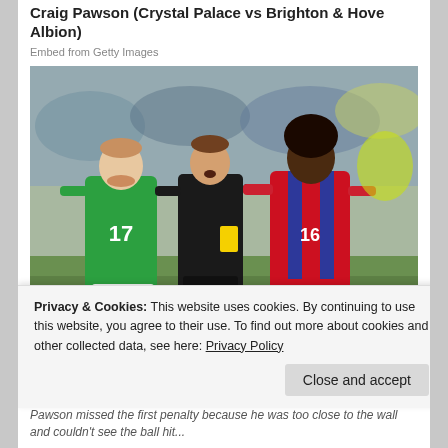Craig Pawson (Crystal Palace vs Brighton & Hove Albion)
Embed from Getty Images
[Figure (photo): A football referee in dark kit showing a yellow card, standing between a Brighton player wearing green number 17 shirt and a Crystal Palace player in red/blue striped kit number 16, on a football pitch.]
Privacy & Cookies: This website uses cookies. By continuing to use this website, you agree to their use. To find out more about cookies and other collected data, see here: Privacy Policy
Close and accept
Pawson missed the first penalty because he was too close to the wall and couldn't see the ball hit...